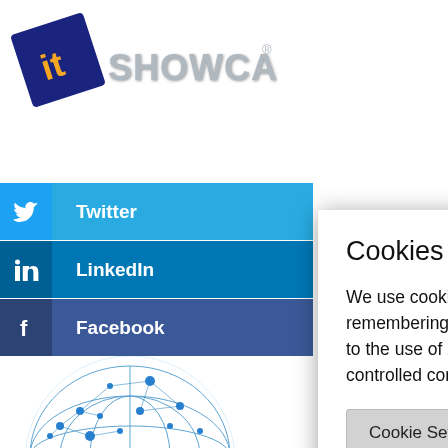[Figure (logo): IT Showcase logo: tilted dark blue square with orange 'it' text and 3D-effect SHOWCASE text in grey]
[Figure (screenshot): Social media buttons: Twitter (light blue), LinkedIn (blue), Facebook (dark blue) with icons and labels]
[Figure (illustration): Globe/network sphere illustration in blue tones, bottom left]
Cookies
We use cookies on our website to give you the most relevant experience by remembering your preferences and repeat visits. By clicking “Accept All”, you consent to the use of ALL the cookies. However, you may visit "Cookie Settings" to provide a controlled consent.
Cookie Settings
Accept All
the issues